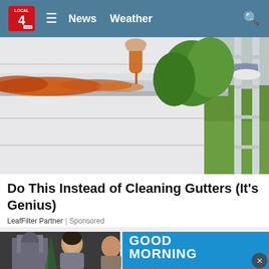LOCAL 4 News Weather [search]
[Figure (photo): Close-up photo of a person cleaning a gutter, pouring liquid from a container, standing on a ladder next to a house, with green lawn visible in background]
Do This Instead of Cleaning Gutters (It's Genius)
LeafFilter Partner | Sponsored
[Figure (screenshot): Two women on a TV broadcast set; right half shows Good Morning America logo on blue background]